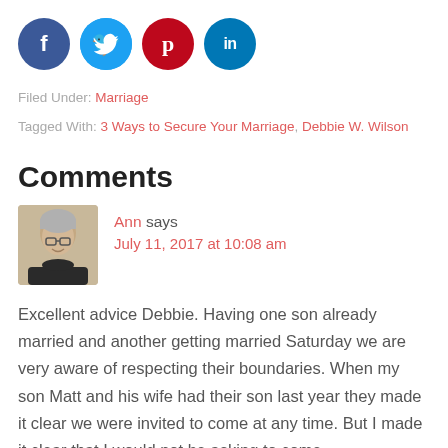[Figure (illustration): Four social media share buttons (circular icons): Facebook (dark blue, f), Twitter (light blue, bird), Pinterest (red, p), LinkedIn (teal, in)]
Filed Under: Marriage
Tagged With: 3 Ways to Secure Your Marriage, Debbie W. Wilson
Comments
[Figure (photo): Avatar photo of Ann, a woman with short gray hair and glasses, smiling slightly, wearing a dark top.]
Ann says
July 11, 2017 at 10:08 am
Excellent advice Debbie. Having one son already married and another getting married Saturday we are very aware of respecting their boundaries. When my son Matt and his wife had their son last year they made it clear we were invited to come at any time. But I made it clear that I would not be asking to come –